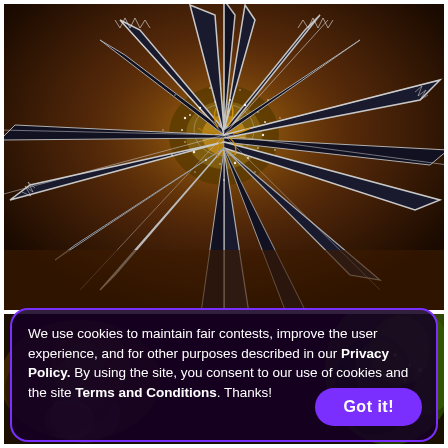[Figure (photo): Close-up macro photograph of a dark cannabis flower bud with white trichomes, dark serrated leaves with white edges, set against a blurred warm background.]
[Figure (photo): Background image showing cannabis buds and plant material in a blurred scene, visible behind the cookie consent banner.]
We use cookies to maintain fair contests, improve the user experience, and for other purposes described in our Privacy Policy. By using the site, you consent to our use of cookies and the site Terms and Conditions. Thanks!
Got it!